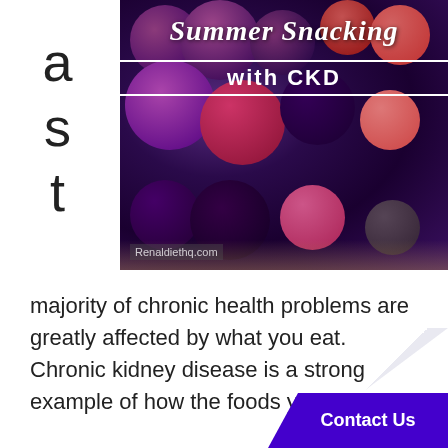[Figure (photo): Bowl of mixed berries (blackberries, raspberries, blueberries) with text overlay 'Summer Snacking with CKD' and watermark 'Renaldiethq.com']
a s t
majority of chronic health problems are greatly affected by what you eat. Chronic kidney disease is a strong example of how the foods you eat can
Contact Us